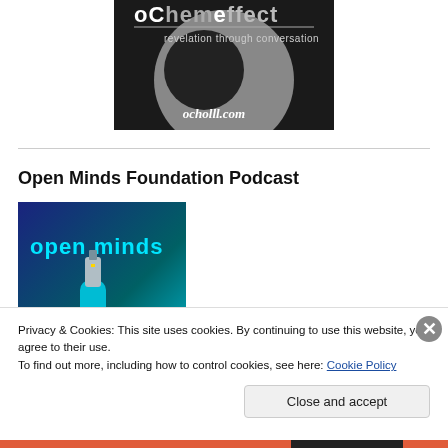[Figure (logo): OChemEffect podcast logo: black and grey circular design with text 'oChemEffect' and tagline 'revelation through conversation', url 'ocholll.com']
Open Minds Foundation Podcast
[Figure (photo): Open Minds Foundation Podcast cover art: teal/turquoise background with text 'open minds' and a USB flash drive held by a hand]
Privacy & Cookies: This site uses cookies. By continuing to use this website, you agree to their use.
To find out more, including how to control cookies, see here: Cookie Policy